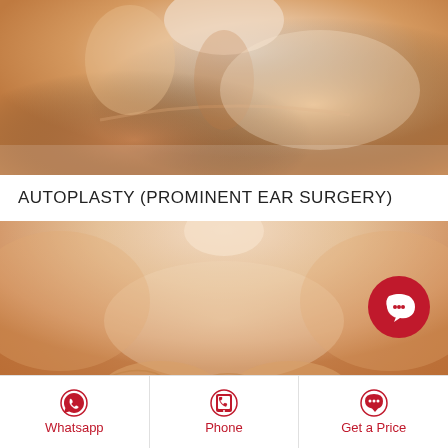[Figure (photo): Close-up photo of a woman's neck and shoulder area, hand near chin, soft skin tones on white background]
AUTOPLASTY (PROMINENT EAR SURGERY)
[Figure (photo): Photo of a woman's chest and neck area from shoulders down, hands covering chest, warm skin tones on white background, with a red chat bubble icon overlay in the top right]
Whatsapp | Phone | Get a Price